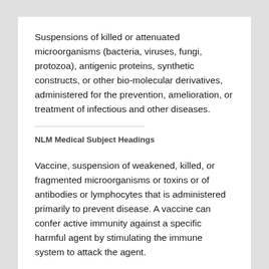Suspensions of killed or attenuated microorganisms (bacteria, viruses, fungi, protozoa), antigenic proteins, synthetic constructs, or other bio-molecular derivatives, administered for the prevention, amelioration, or treatment of infectious and other diseases.
NLM Medical Subject Headings
U.S. National Library of Medicine, 2021
Vaccine, suspension of weakened, killed, or fragmented microorganisms or toxins or of antibodies or lymphocytes that is administered primarily to prevent disease. A vaccine can confer active immunity against a specific harmful agent by stimulating the immune system to attack the agent.